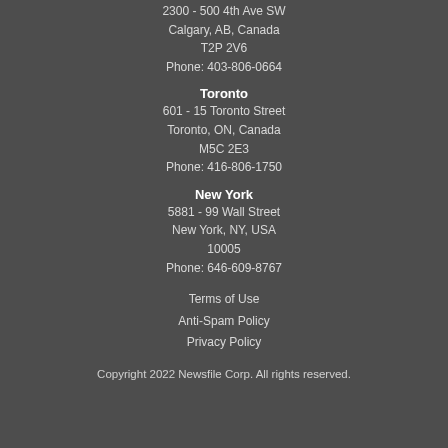2300 - 500 4th Ave SW
Calgary, AB, Canada
T2P 2V6
Phone: 403-806-0664
Toronto
601 - 15 Toronto Street
Toronto, ON, Canada
M5C 2E3
Phone: 416-806-1750
New York
5881 - 99 Wall Street
New York, NY, USA
10005
Phone: 646-609-8767
Terms of Use
Anti-Spam Policy
Privacy Policy
Copyright 2022 Newsfile Corp. All rights reserved.